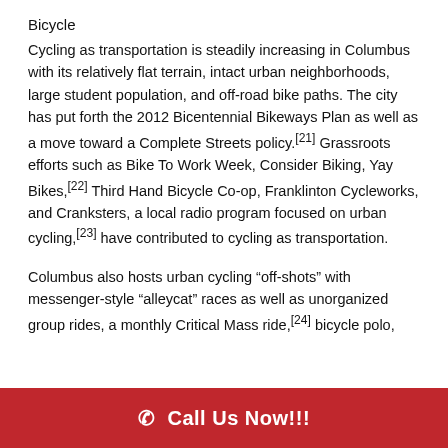Bicycle
Cycling as transportation is steadily increasing in Columbus with its relatively flat terrain, intact urban neighborhoods, large student population, and off-road bike paths. The city has put forth the 2012 Bicentennial Bikeways Plan as well as a move toward a Complete Streets policy.[21] Grassroots efforts such as Bike To Work Week, Consider Biking, Yay Bikes,[22] Third Hand Bicycle Co-op, Franklinton Cycleworks, and Cranksters, a local radio program focused on urban cycling,[23] have contributed to cycling as transportation.
Columbus also hosts urban cycling "off-shots" with messenger-style "alleycat" races as well as unorganized group rides, a monthly Critical Mass ride,[24] bicycle polo,
📞 Call Us Now!!!